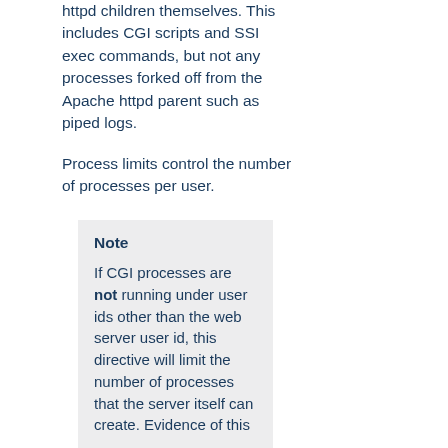httpd children themselves. This includes CGI scripts and SSI exec commands, but not any processes forked off from the Apache httpd parent such as piped logs.
Process limits control the number of processes per user.
Note

If CGI processes are not running under user ids other than the web server user id, this directive will limit the number of processes that the server itself can create. Evidence of this